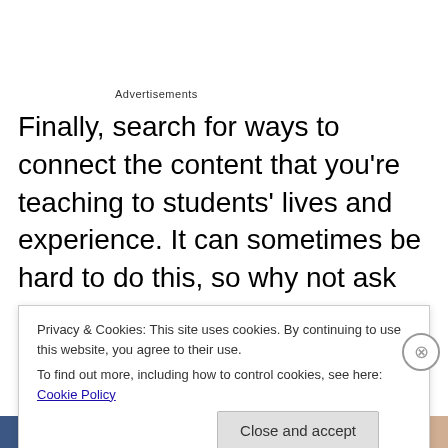Advertisements
Finally, search for ways to connect the content that you're teaching to students' lives and experience.  It can sometimes be hard to do this, so why not ask your students for help?  A class activity might involve tasking students with finding real world applications of what you're discussing and then sharing those with the rest of the class.  This can be done in class via think-pair-share
Privacy & Cookies: This site uses cookies. By continuing to use this website, you agree to their use.
To find out more, including how to control cookies, see here: Cookie Policy
Close and accept